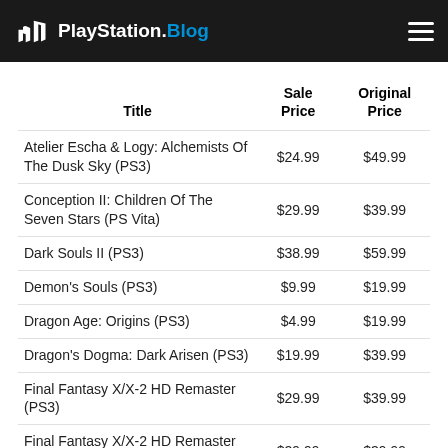PlayStation.Blog
| Title | Sale Price | Original Price |
| --- | --- | --- |
| Atelier Escha & Logy: Alchemists Of The Dusk Sky (PS3) | $24.99 | $49.99 |
| Conception II: Children Of The Seven Stars (PS Vita) | $29.99 | $39.99 |
| Dark Souls II (PS3) | $38.99 | $59.99 |
| Demon's Souls (PS3) | $9.99 | $19.99 |
| Dragon Age: Origins (PS3) | $4.99 | $19.99 |
| Dragon's Dogma: Dark Arisen (PS3) | $19.99 | $39.99 |
| Final Fantasy X/X-2 HD Remaster (PS3) | $29.99 | $39.99 |
| Final Fantasy X/X-2 HD Remaster (PS Vita) | $29.99 | $39.99 |